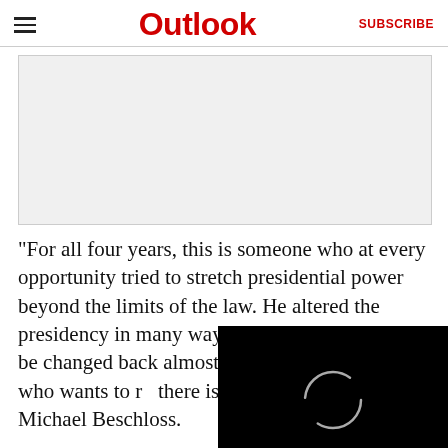Outlook   SUBSCRIBE
[Figure (other): Advertisement placeholder box, light gray background]
“For all four years, this is someone who at every opportunity tried to stretch presidential power beyond the limits of the law. He altered the presidency in many ways, but many of them can be changed back almost overnight by a president who wants to r[...] there is a change,” said p[...] Michael Beschloss.
Trump’s most enduring l[...]
[Figure (other): Black video player overlay with a circular play/loading indicator]